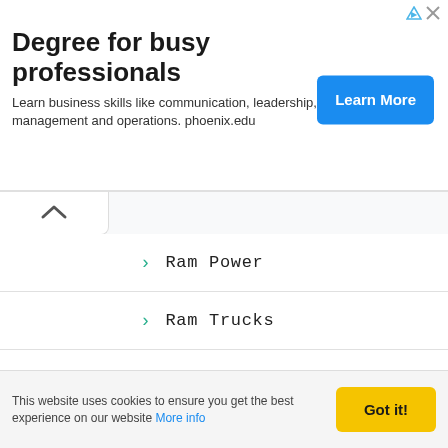[Figure (screenshot): Advertisement banner for University of Phoenix: 'Degree for busy professionals' with a blue 'Learn More' button]
Ram Power
Ram Trucks
Range Rover
Renault
REVIEW
Rivian
Rolls-Royce
RS
This website uses cookies to ensure you get the best experience on our website More info
Got it!